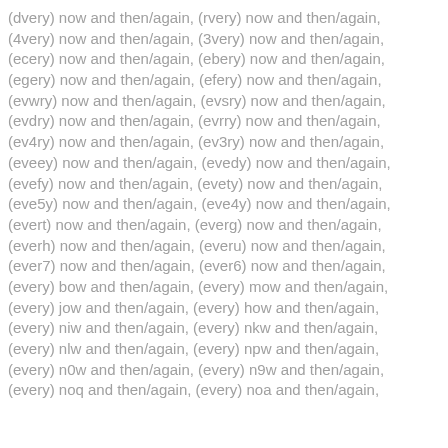(dvery) now and then/again, (rvery) now and then/again, (4very) now and then/again, (3very) now and then/again, (ecery) now and then/again, (ebery) now and then/again, (egery) now and then/again, (efery) now and then/again, (evwry) now and then/again, (evsry) now and then/again, (evdry) now and then/again, (evrry) now and then/again, (ev4ry) now and then/again, (ev3ry) now and then/again, (eveey) now and then/again, (evedy) now and then/again, (evefy) now and then/again, (evety) now and then/again, (eve5y) now and then/again, (eve4y) now and then/again, (evert) now and then/again, (everg) now and then/again, (everh) now and then/again, (everu) now and then/again, (ever7) now and then/again, (ever6) now and then/again, (every) bow and then/again, (every) mow and then/again, (every) jow and then/again, (every) how and then/again, (every) niw and then/again, (every) nkw and then/again, (every) nlw and then/again, (every) npw and then/again, (every) n0w and then/again, (every) n9w and then/again, (every) noq and then/again, (every) noa and then/again,